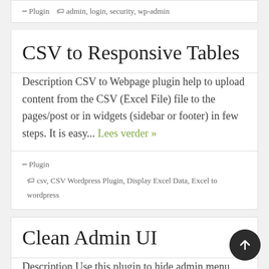Plugin   admin, login, security, wp-admin
CSV to Responsive Tables
Description CSV to Webpage plugin help to upload content from the CSV (Excel File) file to the pages/post or in widgets (sidebar or footer) in few steps. It is easy... Lees verder »
Plugin   csv, CSV Wordpress Plugin, Display Excel Data, Excel to wordpress
Clean Admin UI
Description Use this plugin to hide admin menu items like Posts, Comments, Users, etc This